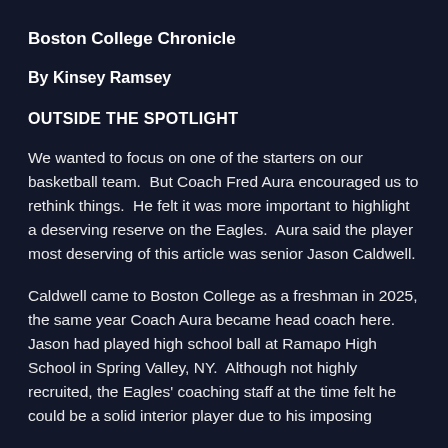Boston College Chronicle
By Kinsey Ramsey
OUTSIDE THE SPOTLIGHT
We wanted to focus on one of the starters on our basketball team.  But Coach Fred Aura encouraged us to rethink things.  He felt it was more important to highlight a deserving reserve on the Eagles.  Aura said the player most deserving of this article was senior Jason Caldwell.
Caldwell came to Boston College as a freshman in 2025, the same year Coach Aura became head coach here.  Jason had played high school ball at Ramapo High School in Spring Valley, NY.  Although not highly recruited, the Eagles' coaching staff at the time felt he could be a solid interior player due to his imposing